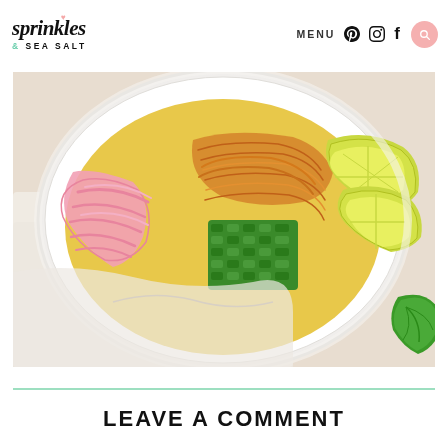sprinkles & SEA SALT | MENU | (social icons) | (search)
[Figure (photo): Close-up top-down view of a white bowl containing noodles with pink pickled onions, crispy noodles, green scallions, and lime wedges, set on a white cloth napkin with a basil leaf visible at the lower right.]
LEAVE A COMMENT